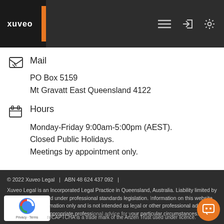[Figure (logo): Xuveo Legal logo in dark header bar with orange accent bar and navigation icons]
Mail
PO Box 5159
Mt Gravatt East Queensland 4122
Hours
Monday-Friday 9:00am-5:00pm (AEST).
Closed Public Holidays.
Meetings by appointment only.
© 2022 Xuveo Legal | ABN 48 624 437 092 | Xuveo Legal is an Incorporated Legal Practice in Queensland, Australia. Liability limited by a scheme approved under professional standards legislation. Information on this website is for general information only and is not intended as legal or other professional advice. You should seek appropriate professional advice for your particular circumstances. reCAPTCHA is a trade mark of the Anzen Trust used under licence.